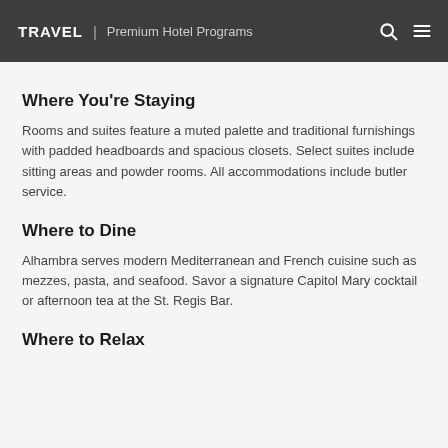TRAVEL | Premium Hotel Programs
Where You're Staying
Rooms and suites feature a muted palette and traditional furnishings with padded headboards and spacious closets. Select suites include sitting areas and powder rooms. All accommodations include butler service.
Where to Dine
Alhambra serves modern Mediterranean and French cuisine such as mezzes, pasta, and seafood. Savor a signature Capitol Mary cocktail or afternoon tea at the St. Regis Bar.
Where to Relax